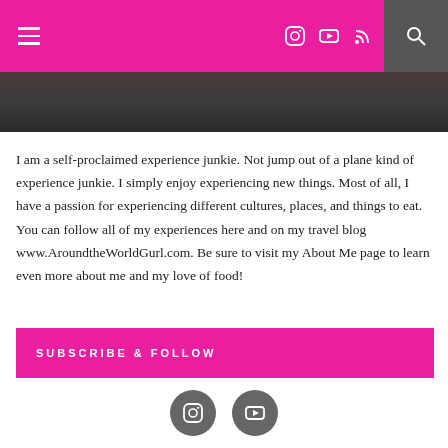Navigation header with menu, social icons (Instagram, YouTube, RSS), and search
[Figure (photo): Partial photo of a person, dark toned, cropped at top of page]
I am a self-proclaimed experience junkie. Not jump out of a plane kind of experience junkie. I simply enjoy experiencing new things. Most of all, I have a passion for experiencing different cultures, places, and things to eat. You can follow all of my experiences here and on my travel blog www.AroundtheWorldGurl.com. Be sure to visit my About Me page to learn even more about me and my love of food!
SUBSCRIBE & FOLLOW
[Figure (illustration): Two circular social media icon buttons: Instagram and YouTube, on white background]